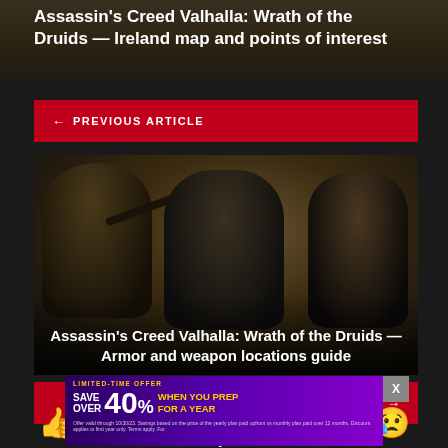Assassin's Creed Valhalla: Wrath of the Druids — Ireland map and points of interest
← PREVIOUS ARTICLE
[Figure (photo): Screenshot from Assassin's Creed Valhalla: Wrath of the Druids showing warriors with bows and shields in a dark forest setting]
Assassin's Creed Valhalla: Wrath of the Druids — Armor and weapon locations guide
NEXT ARTICLE →
What do you think?
0 Responses
[Figure (infographic): Advertisement overlay: LIMITED-TIME OFFER SAVE OVER 40% WHEN YOU PREP FOR A YEAR. Offer valid through 10/30/23.]
[Figure (illustration): Emoji reaction row: thumbs up, face, face, sad face crying emoji]